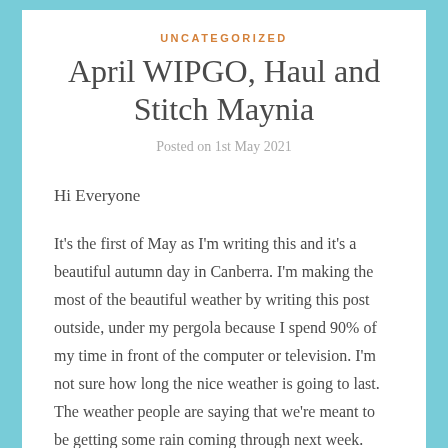UNCATEGORIZED
April WIPGO, Haul and Stitch Maynia
Posted on 1st May 2021
Hi Everyone
It's the first of May as I'm writing this and it's a beautiful autumn day in Canberra. I'm making the most of the beautiful weather by writing this post outside, under my pergola because I spend 90% of my time in front of the computer or television. I'm not sure how long the nice weather is going to last. The weather people are saying that we're meant to be getting some rain coming through next week. Maybe on Tuesday and Wednesday.